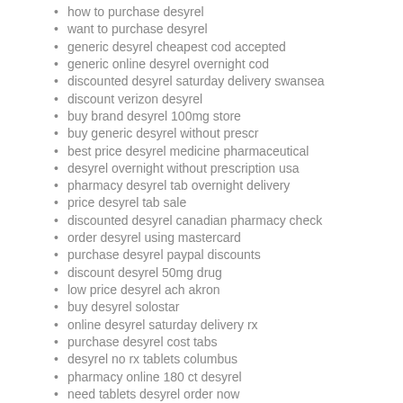how to purchase desyrel
want to purchase desyrel
generic desyrel cheapest cod accepted
generic online desyrel overnight cod
discounted desyrel saturday delivery swansea
discount verizon desyrel
buy brand desyrel 100mg store
buy generic desyrel without prescr
best price desyrel medicine pharmaceutical
desyrel overnight without prescription usa
pharmacy desyrel tab overnight delivery
price desyrel tab sale
discounted desyrel canadian pharmacy check
order desyrel using mastercard
purchase desyrel paypal discounts
discount desyrel 50mg drug
low price desyrel ach akron
buy desyrel solostar
online desyrel saturday delivery rx
purchase desyrel cost tabs
desyrel no rx tablets columbus
pharmacy online 180 ct desyrel
need tablets desyrel order now